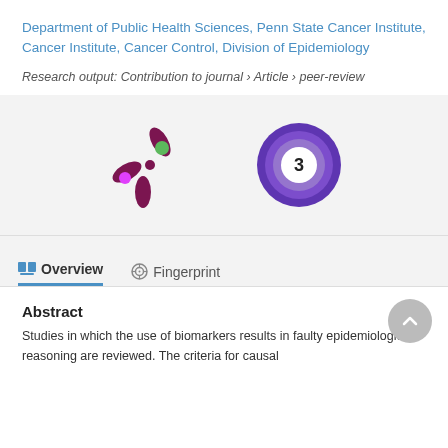Department of Public Health Sciences, Penn State Cancer Institute, Cancer Institute, Cancer Control, Division of Epidemiology
Research output: Contribution to journal › Article › peer-review
[Figure (logo): Altmetric score badge with purple asterisk-like figure and green/pink dots]
[Figure (other): Scopus citations badge showing number 3 in a purple/blue circular ring]
Overview   Fingerprint
Abstract
Studies in which the use of biomarkers results in faulty epidemiological reasoning are reviewed. The criteria for causal